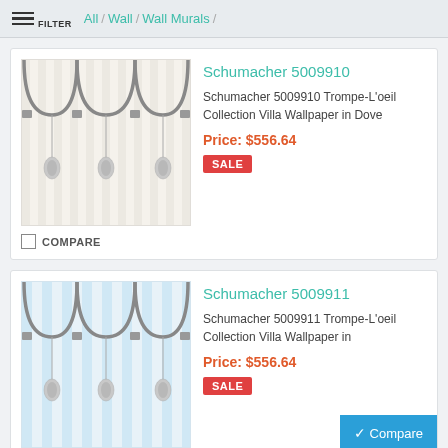FILTER / All / Wall / Wall Murals /
[Figure (photo): Schumacher 5009910 Trompe-L'oeil wallpaper product image in Dove colorway showing decorative arch/swag pattern]
Schumacher 5009910
Schumacher 5009910 Trompe-L'oeil Collection Villa Wallpaper in Dove
Price: $556.64
SALE
COMPARE
[Figure (photo): Schumacher 5009911 Trompe-L'oeil wallpaper product image in blue colorway showing decorative arch/swag pattern]
Schumacher 5009911
Schumacher 5009911 Trompe-L'oeil Collection Villa Wallpaper in
Price: $556.64
SALE
COMPARE
Compare